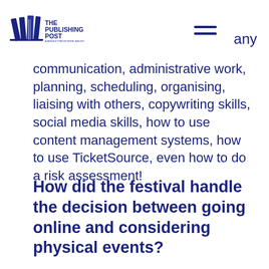THE PUBLISHING POST
communication, administrative work, planning, scheduling, organising, liaising with others, copywriting skills, social media skills, how to use content management systems, how to use TicketSource, even how to do a risk assessment!
How did the festival handle the decision between going online and considering physical events?